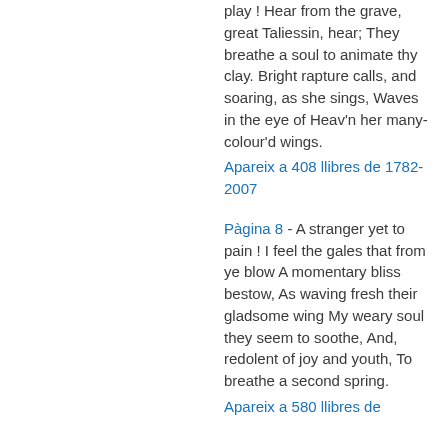play ! Hear from the grave, great Taliessin, hear; They breathe a soul to animate thy clay. Bright rapture calls, and soaring, as she sings, Waves in the eye of Heav'n her many-colour'd wings.
Apareix a 408 llibres de 1782-2007
Pàgina 8 - A stranger yet to pain ! I feel the gales that from ye blow A momentary bliss bestow, As waving fresh their gladsome wing My weary soul they seem to soothe, And, redolent of joy and youth, To breathe a second spring.
Apareix a 580 llibres de